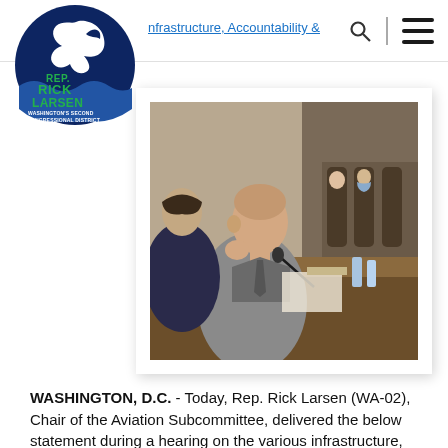Rep. Rick Larsen — Washington's Second Congressional District
nfrastructure, Accountability &
[Figure (photo): Rep. Rick Larsen speaking at a committee hearing table, with other members visible in the background. A microphone is in front of him. The setting is a congressional hearing room.]
WASHINGTON, D.C. - Today, Rep. Rick Larsen (WA-02), Chair of the Aviation Subcommittee, delivered the below statement during a hearing on the various infrastructure, technologies, federal programs and other initiatives U.S. airports and airport stakeholders are utilizing to mitigate and